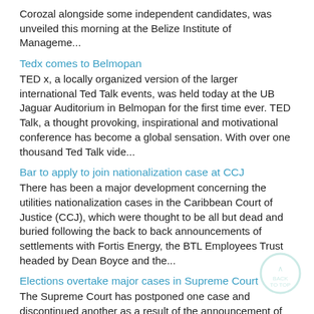Corozal alongside some independent candidates, was unveiled this morning at the Belize Institute of Manageme...
Tedx comes to Belmopan
TED x, a locally organized version of the larger international Ted Talk events, was held today at the UB Jaguar Auditorium in Belmopan for the first time ever. TED Talk, a thought provoking, inspirational and motivational conference has become a global sensation. With over one thousand Ted Talk vide...
Bar to apply to join nationalization case at CCJ
There has been a major development concerning the utilities nationalization cases in the Caribbean Court of Justice (CCJ), which were thought to be all but dead and buried following the back to back announcements of settlements with Fortis Energy, the BTL Employees Trust headed by Dean Boyce and the...
Elections overtake major cases in Supreme Court
The Supreme Court has postponed one case and discontinued another as a result of the announcement of general elections in November. Senior Counsel Lisa Shoman confirmed in speaking with us via telephone this morning that the case of PUP Cayo Northeast standard bearer Orlando Habet versus the Chief E...